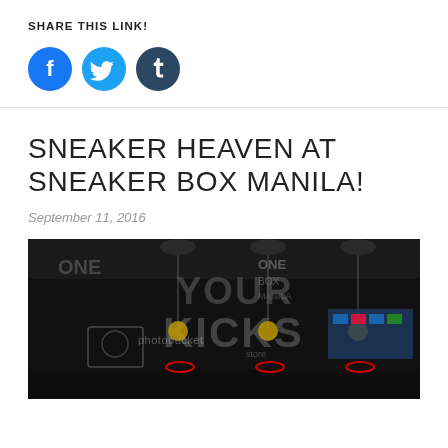SHARE THIS LINK!
[Figure (illustration): Three social media share buttons: Facebook (blue circle with f), Twitter (light blue circle with bird), Tumblr (dark blue circle with t)]
SNEAKER HEAVEN AT SNEAKER BOX MANILA!
September 11, 2016
[Figure (photo): Interior of Sneaker Box Manila store showing sneaker displays, basketball hoops, dark walls with text reading YOUR KICKS, ONE, and store branding. Photobucket watermark visible.]